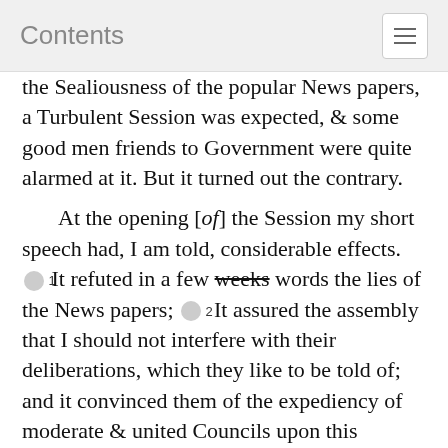Contents
the Sealiousness of the popular News papers, a Turbulent Session was expected, & some good men friends to Government were quite alarmed at it. But it turned out the contrary.
At the opening [of] the Session my short speech had, I am told, considerable effects. 1 It refuted in a few weeks words the lies of the News papers; 2 It assured the assembly that I should not interfere with their deliberations, which they like to be told of; and it convinced them of the expediency of moderate & united Councils upon this occasion. The Session opened by the Boston Seat, as the Town Members are called, introducing a petition to the King Lords & Commons in Parliament: this passed the House & was sent up to the Council. Besides